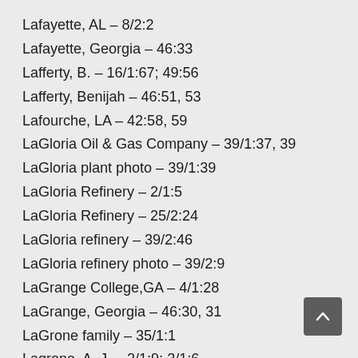Lafayette, AL – 8/2:2
Lafayette, Georgia – 46:33
Lafferty, B. – 16/1:67; 49:56
Lafferty, Benijah – 46:51, 53
Lafourche, LA – 42:58, 59
LaGloria Oil & Gas Company – 39/1:37, 39
LaGloria plant photo – 39/1:39
LaGloria Refinery – 2/1:5
LaGloria Refinery – 25/2:24
LaGloria refinery – 39/2:46
LaGloria refinery photo – 39/2:9
LaGrange College,GA – 4/1:28
LaGrange, Georgia – 46:30, 31
LaGrone family – 35/1:1
Lagrone, A. J. – 2/1:9; 3/1:6